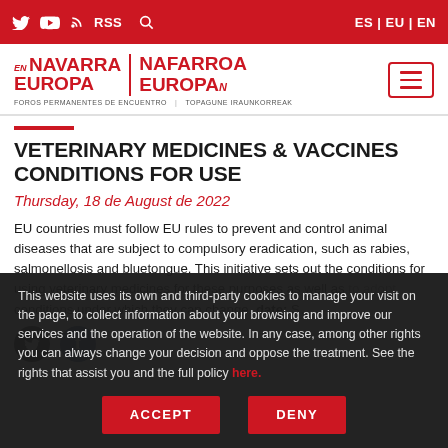Twitter YouTube RSS Search | ES | EU | EN
[Figure (logo): Navarra en Europa / Nafarroa Europan logo with hamburger menu button]
VETERINARY MEDICINES & VACCINES CONDITIONS FOR USE
Thursday, 18 de August de 2022
EU countries must follow EU rules to prevent and control animal diseases that are subject to compulsory eradication, such as rabies, salmonellosis and bluetongue. This initiative sets out the conditions for using veterinary medicines for these purposes as well as conditions under which they can change...
This website uses its own and third-party cookies to manage your visit on the page, to collect information about your browsing and improve our services and the operation of the website. In any case, among other rights you can always change your decision and oppose the treatment. See the rights that assist you and the full policy here.